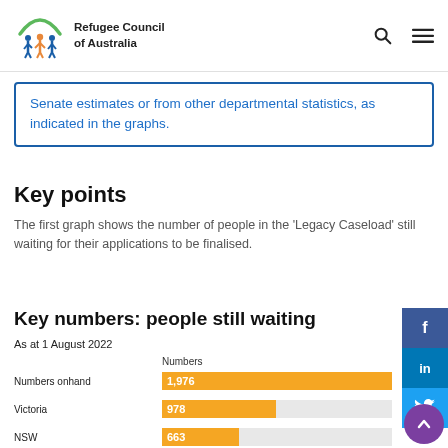Refugee Council of Australia
Senate estimates or from other departmental statistics, as indicated in the graphs.
Key points
The first graph shows the number of people in the 'Legacy Caseload' still waiting for their applications to be finalised.
Key numbers: people still waiting
As at 1 August 2022
[Figure (bar-chart): Key numbers: people still waiting]